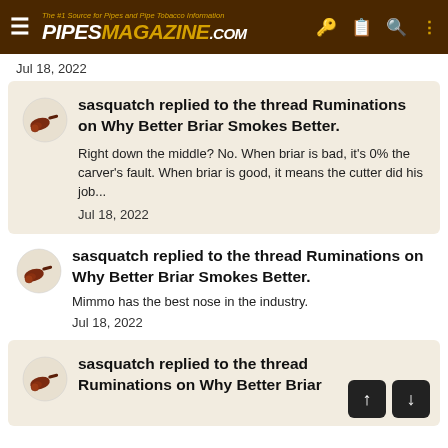The #1 Source for Pipes and Pipe Tobacco Information PIPESMAGAZINE.COM
Jul 18, 2022
sasquatch replied to the thread Ruminations on Why Better Briar Smokes Better.
Right down the middle? No. When briar is bad, it's 0% the carver's fault. When briar is good, it means the cutter did his job...
Jul 18, 2022
sasquatch replied to the thread Ruminations on Why Better Briar Smokes Better.
Mimmo has the best nose in the industry.
Jul 18, 2022
sasquatch replied to the thread Ruminations on Why Better Briar